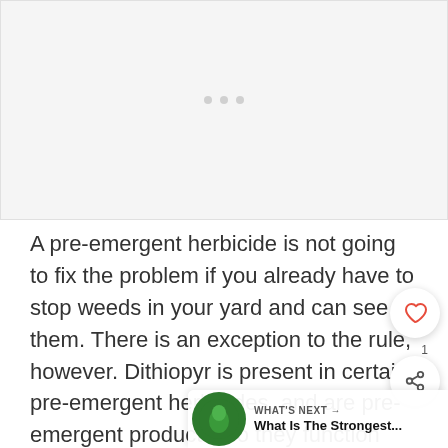[Figure (other): Advertisement placeholder area with light gray background and three small dots indicating loading/ad content]
A pre-emergent herbicide is not going to fix the problem if you already have to stop weeds in your yard and can see them. There is an exception to the rule, however. Dithiopyr is present in certain pre-emergent herbicides, and are pre-emergent products, so they function both before and after weeds sprout.